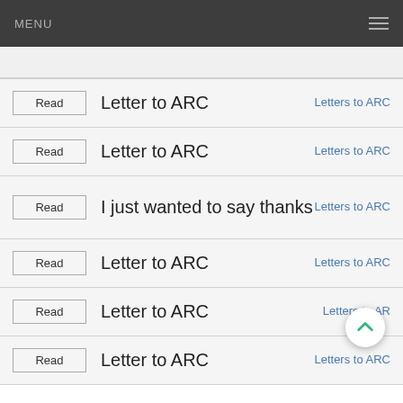MENU
Letter to ARC | Letters to ARC
Letter to ARC | Letters to ARC
I just wanted to say thanks | Letters to ARC
Letter to ARC | Letters to ARC
Letter to ARC | Letters to ARC
Letter to ARC | Letters to ARC